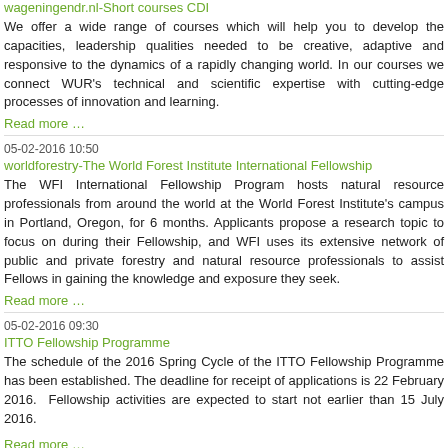wageningendr.nl-Short courses CDI
We offer a wide range of courses which will help you to develop the capacities, leadership qualities needed to be creative, adaptive and responsive to the dynamics of a rapidly changing world. In our courses we connect WUR's technical and scientific expertise with cutting-edge processes of innovation and learning.
Read more …
05-02-2016 10:50
worldforestry-The World Forest Institute International Fellowship
The WFI International Fellowship Program hosts natural resource professionals from around the world at the World Forest Institute's campus in Portland, Oregon, for 6 months. Applicants propose a research topic to focus on during their Fellowship, and WFI uses its extensive network of public and private forestry and natural resource professionals to assist Fellows in gaining the knowledge and exposure they seek.
Read more …
05-02-2016 09:30
ITTO Fellowship Programme
The schedule of the 2016 Spring Cycle of the ITTO Fellowship Programme has been established. The deadline for receipt of applications is 22 February 2016.  Fellowship activities are expected to start not earlier than 15 July 2016.
Read more …
05-02-2016 09:21
ITTO- Executive Director. Deadline for application: 30 April 2016
The ITTO mission is to promote the expansion and diversification of international trade in tropical timber from sustainably managed and legally harvested forests and the sustainable management of tropical timber-producing forests. The Executive Director is the chief administrative officer of